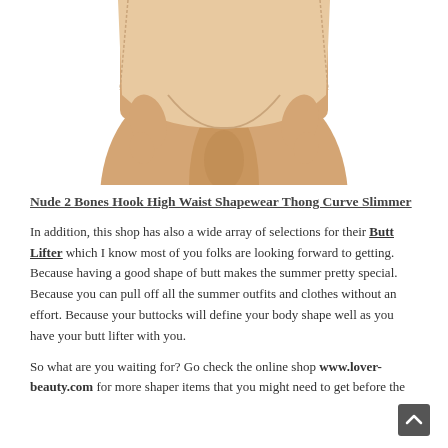[Figure (photo): Cropped photo of a woman's lower torso wearing nude/beige high-waist shapewear thong underwear against a white background]
Nude 2 Bones Hook High Waist Shapewear Thong Curve Slimmer
In addition, this shop has also a wide array of selections for their Butt Lifter which I know most of you folks are looking forward to getting. Because having a good shape of butt makes the summer pretty special. Because you can pull off all the summer outfits and clothes without an effort. Because your buttocks will define your body shape well as you have your butt lifter with you.
So what are you waiting for? Go check the online shop www.lover-beauty.com for more shaper items that you might need to get before the summer season hits.